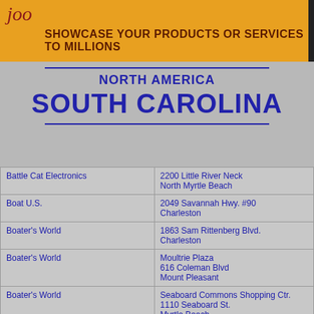[Figure (other): Orange banner with italic red logo text 'joo' and bold dark text 'SHOWCASE YOUR PRODUCTS OR SERVICES TO MILLIONS']
NORTH AMERICA
SOUTH CAROLINA
| Business Name | Address |
| --- | --- |
| Battle Cat Electronics | 2200 Little River Neck
North Myrtle Beach |
| Boat U.S. | 2049 Savannah Hwy. #90
Charleston |
| Boater's World | 1863 Sam Rittenberg Blvd.
Charleston |
| Boater's World | Moultrie Plaza
616 Coleman Blvd
Mount Pleasant |
| Boater's World | Seaboard Commons Shopping Ctr.
1110 Seaboard St.
Myrtle Beach |
| Bruce's Marine Service | 612 Britt Street
Georgetown |
| Carolina Yacht Specialist | 1 Harbour Place , Suite 206 |